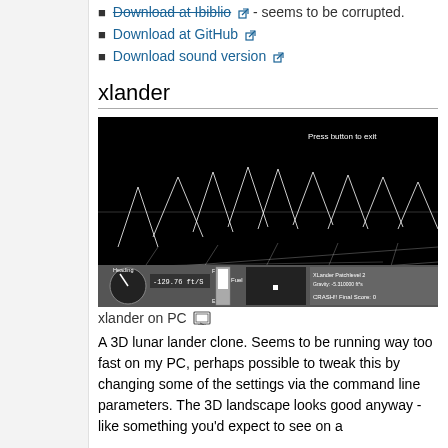Download at Ibiblio - seems to be corrupted.
Download at GitHub
Download sound version
xlander
[Figure (screenshot): Screenshot of xlander game showing a 3D wireframe lunar landscape on a black background, with a HUD showing heading, speed -129.76 ft/s, fuel gauge, and crash information. Text says 'Press button to exit'. Caption: xlander on PC]
xlander on PC
A 3D lunar lander clone. Seems to be running way too fast on my PC, perhaps possible to tweak this by changing some of the settings via the command line parameters. The 3D landscape looks good anyway - like something you'd expect to see on a